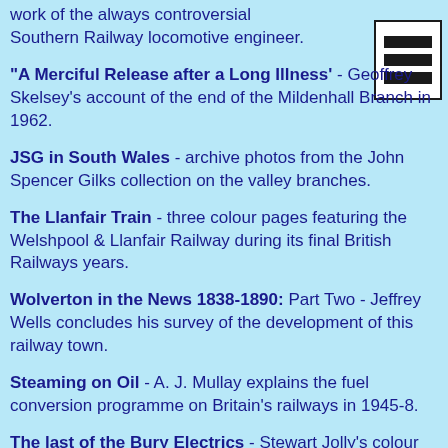work of the always controversial Southern Railway locomotive engineer.
[Figure (other): Menu/list icon with three horizontal black bars in a white bordered box]
"A Merciful Release after a Long Illness" - Geoffrey Skelsey's account of the end of the Mildenhall Branch in 1962.
JSG in South Wales - archive photos from the John Spencer Gilks collection on the valley branches.
The Llanfair Train - three colour pages featuring the Welshpool & Llanfair Railway during its final British Railways years.
Wolverton in the News 1838-1890: Part Two - Jeffrey Wells concludes his survey of the development of this railway town.
Steaming on Oil - A. J. Mullay explains the fuel conversion programme on Britain's railways in 1945-8.
The last of the Bury Electrics - Stewart Jolly's colour pictures of the last year or two of the Class 504 units before conversion of the Bury line to be part of the Manchester Metro.
Remembering Kimberley Station East - Richard Clarke looks back